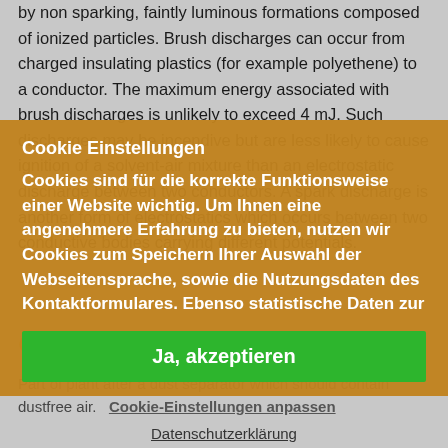by non sparking, faintly luminous formations composed of ionized particles. Brush discharges can occur from charged insulating plastics (for example polyethene) to a conductor. The maximum energy associated with brush discharges is unlikely to exceed 4 mJ. Such discharges may be incendive but are less likely to cause ignition of a solvent-air mixture than an electrostatic discharge between two conductors. A spark discharge is another form of electrostatics which occurs between two conductive bodies carrying different potentials.
Cookie Einstellungen
Cookies sind für die korrekte Funktionsweise einer Website wichtig. Um Ihnen eine angenehmere Erfahrung zu bieten, nutzen wir Cookies zum Speichern Ihrer Auswahl der Webseitensprache, sowie die Nutzungsdaten des Kontaktformulares. Ebenso statistische Daten zur
Clean air side
Ja, akzeptieren
Part of plant after a dust separator which should contain dustfree air.
Cookie-Einstellungen anpassen
Datenschutzerklärung